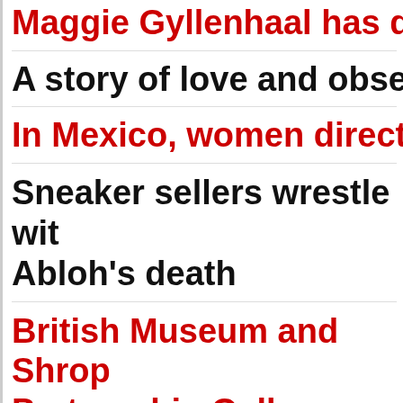Maggie Gyllenhaal has da…
A story of love and obsess…
In Mexico, women director…
Sneaker sellers wrestle with Abloh's death
British Museum and Shrop… Partnership Gallery
'Emily in Paris' and the city…
The Hamburger Kunsthalle…